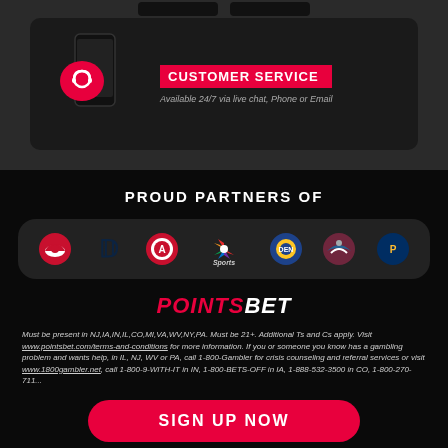[Figure (screenshot): Customer service promo section showing a phone with chat bubble icon and red 'CUSTOMER SERVICE' label, with subtitle 'Available 24/7 via live chat, Phone or Email']
PROUD PARTNERS OF
[Figure (logo): Row of sports team and media logos: Detroit Red Wings, Detroit Tigers, Washington Capitals, NBC Sports, Denver Nuggets, Colorado Avalanche, Indiana Pacers]
[Figure (logo): PointsBet logo - POINTS in red italic, BET in white bold italic]
Must be present in NJ,IA,IN,IL,CO,MI,VA,WV,NY,PA. Must be 21+. Additional Ts and Cs apply. Visit www.pointsbet.com/terms-and-conditions for more information. If you or someone you know has a gambling problem and wants help, in IL, NJ, WV or PA, call 1-800-Gambler for crisis counseling and referral services or visit www.1800gambler.net, call 1-800-9-WITH-IT in IN, 1-800-BETS-OFF in IA, 1-888-532-3500 in CO, 1-800-270-711...text
SIGN UP NOW